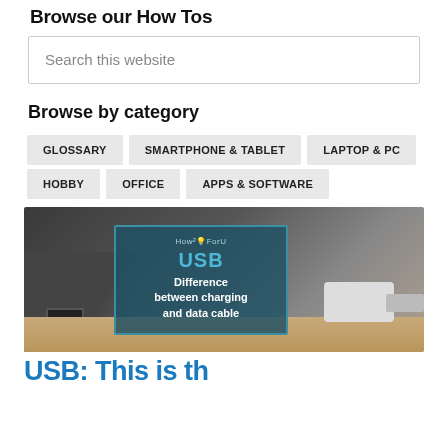Browse our How Tos
Search this website
Browse by category
GLOSSARY
SMARTPHONE & TABLET
LAPTOP & PC
HOBBY
OFFICE
APPS & SOFTWARE
[Figure (photo): Photo of USB hub and USB cables on a wooden surface, with an overlay box showing 'USB Difference between charging and data cable' with How2ForU logo]
USB: This is th…